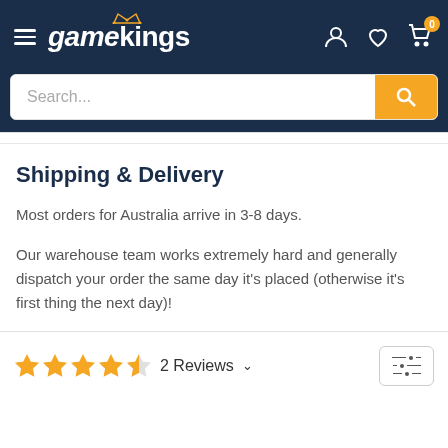gamekings — navigation header with hamburger menu, logo, user icon, wishlist icon, cart icon (0)
[Figure (screenshot): Search bar with placeholder text 'Search...' and orange search button]
Shipping & Delivery
Most orders for Australia arrive in 3-8 days.
Our warehouse team works extremely hard and generally dispatch your order the same day it's placed (otherwise it's first thing the next day)!
2 Reviews